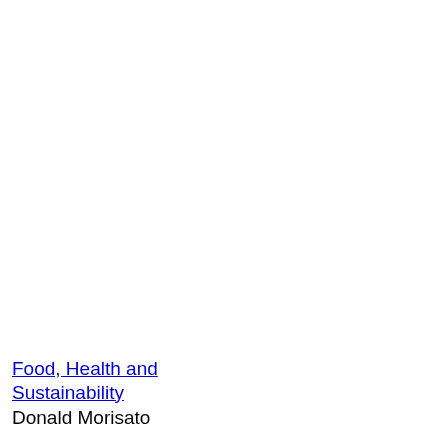Food, Health and Sustainability
Donald Morisato